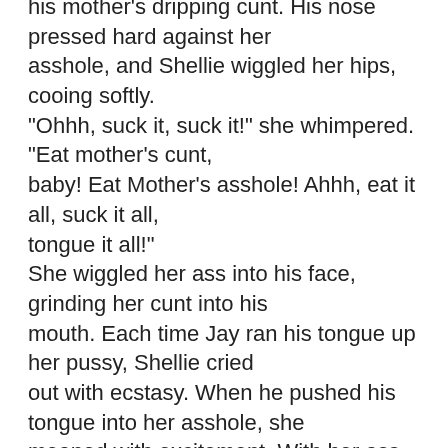his mother's dripping cunt. His nose pressed hard against her asshole, and Shellie wiggled her hips, cooing softly. "Ohhh, suck it, suck it!" she whimpered. "Eat mother's cunt, baby! Eat Mother's asshole! Ahhh, eat it all, suck it all, tongue it all!" She wiggled her ass into his face, grinding her cunt into his mouth. Each time Jay ran his tongue up her pussy, Shellie cried out with ecstasy. When he pushed his tongue into her asshole, she moaned with excitement. With her ass in the air, he could stuff his eager tongue anyplace he wanted, and Shellie wasn't particular. She had discovered by now that she could come no